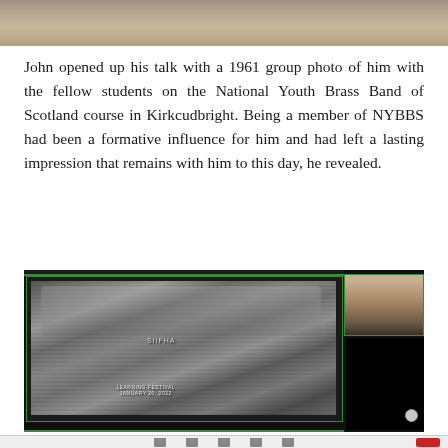[Figure (photo): Partial top photo showing a person, cropped at the top of the page]
John opened up his talk with a 1961 group photo of him with the fellow students on the National Youth Brass Band of Scotland course in Kirkcudbright. Being a member of NYBBS had been a formative influence for him and had left a lasting impression that remains with him to this day, he revealed.
[Figure (screenshot): Screenshot of a video call showing a black-and-white group photo of young brass band students in Kirkcudbright, with a thumbnail of the presenter in the top right corner. Overlay text reads SIIFHA and LEARNING FESTIVAL JANUARY 20, 2022. Green-bordered video conferencing interface.]